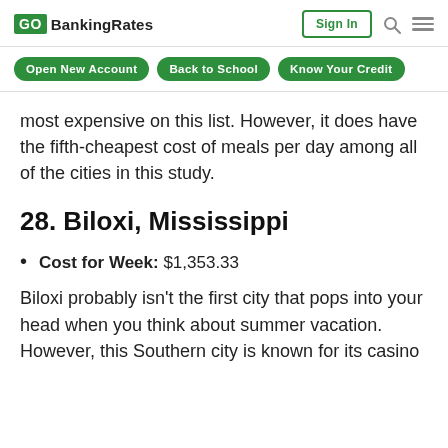GOBankingRates | Sign In
Open New Account | Back to School | Know Your Credit
most expensive on this list. However, it does have the fifth-cheapest cost of meals per day among all of the cities in this study.
28. Biloxi, Mississippi
Cost for Week: $1,353.33
Biloxi probably isn't the first city that pops into your head when you think about summer vacation. However, this Southern city is known for its casino